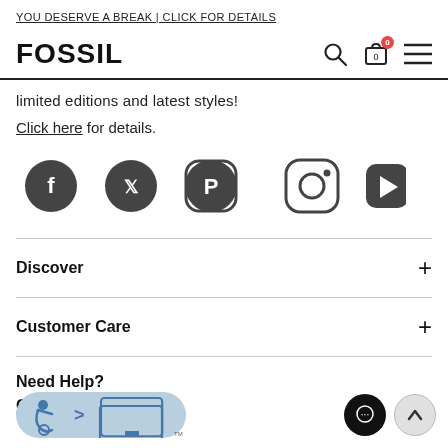YOU DESERVE A BREAK | CLICK FOR DETAILS
[Figure (logo): FOSSIL brand logo with navigation icons: search, cart (0 items, red badge), hamburger menu]
limited editions and latest styles!
Click here for details.
[Figure (illustration): Social media icons: Facebook, Twitter, Pinterest, Instagram, YouTube]
Discover
Customer Care
Need Help?
Chat with Us
[Figure (illustration): Accessibility badge with wheelchair icon and monitor icon, plus chat bubble button and scroll-to-top button]